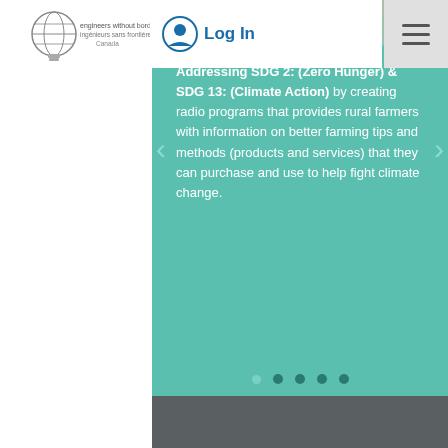[Figure (screenshot): Engineers Without Borders Canada logo - lightbulb with globe, text 'engineers without borders / ingenieurs sans frontieres Canada']
[Figure (screenshot): Log In button with user account icon (circle with person silhouette) and 'Log In' text in blue, plus hamburger menu button on the right]
[Figure (screenshot): Teal/turquoise slideshow panel with left and right navigation arrows, showing slide text and carousel dots at bottom. Top portion has partial photo of people/plants. Text reads: 'Addressing SDG 2: (Zero Hunger) & SDG 13: (Climate Action) by creating radio programs that provides rural farmers with information on better farming tips and methods (products and services) that they can purchase and use to help fight climate change.' Five carousel dots shown at bottom, second dot active.]
Addressing SDG 2: (Zero Hunger) & SDG 13: (Climate Action) by creating radio programs that provides rural farmers with information on better farming tips and methods (products and services) that they can purchase and use to help fight climate change.